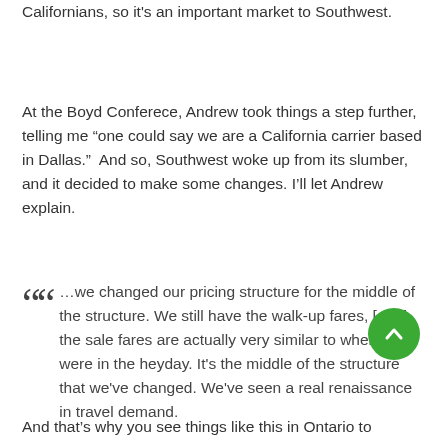Californians, so it's an important market to Southwest.
At the Boyd Conferece, Andrew took things a step further, telling me “one could say we are a California carrier based in Dallas.”  And so, Southwest woke up from its slumber, and it decided to make some changes. I’ll let Andrew explain.
…we changed our pricing structure for the middle of the structure. We still have the walk-up fares, [and] the sale fares are actually very similar to where they were in the heyday. It’s the middle of the structure that we’ve changed. We’ve seen a real renaissance in travel demand.
And that’s why you see things like this in Ontario to